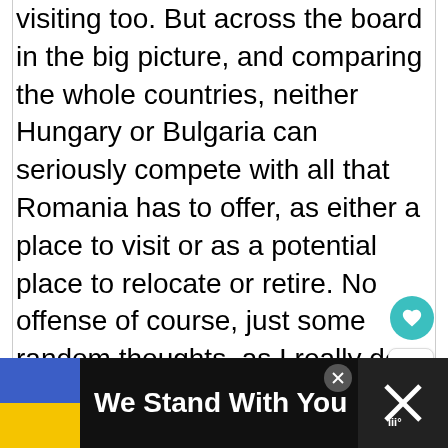visiting too. But across the board in the big picture, and comparing the whole countries, neither Hungary or Bulgaria can seriously compete with all that Romania has to offer, as either a place to visit or as a potential place to relocate or retire. No offense of course, just some random thoughts, as I really do appreciate your insights and opinions.
Best Regards, JC
[Figure (other): Advertisement banner: Ukrainian flag icon on left, bold white text 'We Stand With You', close button, and right panel with an X and stylized icon]